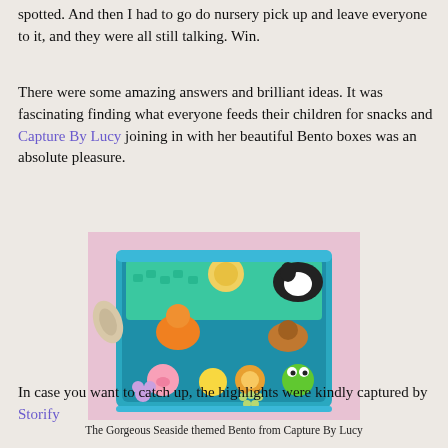spotted. And then I had to go do nursery pick up and leave everyone to it, and they were all still talking. Win.
There were some amazing answers and brilliant ideas. It was fascinating finding what everyone feeds their children for snacks and Capture By Lucy joining in with her beautiful Bento boxes was an absolute pleasure.
[Figure (photo): A blue bento box filled with cute animal-shaped food items and decorations, including kawaii-style pig, cat, lion, frog, panda, duck, and crab figures, along with green pea-like items and other colorful food, on a pink gingham background.]
The Gorgeous Seaside themed Bento from Capture By Lucy
In case you want to catch up, the highlights were kindly captured by Storify